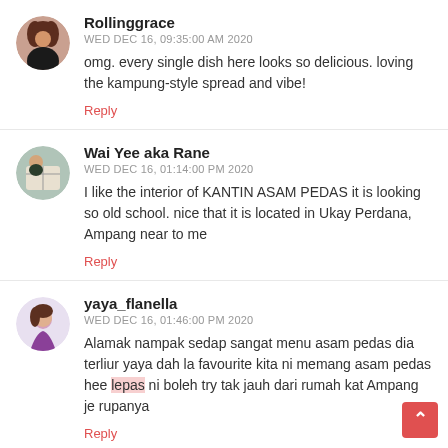[Figure (illustration): Circular avatar photo of Rollinggrace user]
Rollinggrace
WED DEC 16, 09:35:00 AM 2020
omg. every single dish here looks so delicious. loving the kampung-style spread and vibe!
Reply
[Figure (illustration): Circular avatar photo of Wai Yee aka Rane user]
Wai Yee aka Rane
WED DEC 16, 01:14:00 PM 2020
I like the interior of KANTIN ASAM PEDAS it is looking so old school. nice that it is located in Ukay Perdana, Ampang near to me
Reply
[Figure (illustration): Circular avatar photo of yaya_flanella user]
yaya_flanella
WED DEC 16, 01:46:00 PM 2020
Alamak nampak sedap sangat menu asam pedas dia terliur yaya dah la favourite kita ni memang asam pedas hee lepas ni boleh try tak jauh dari rumah kat Ampang je rupanya
Reply